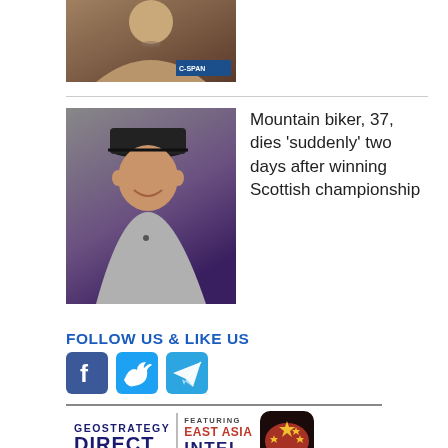[Figure (photo): Top partial thumbnail of a woman, C-SPAN badge in corner]
[Figure (photo): Mountain biker man wearing a dark cap and gray shirt, smiling, purple background]
Mountain biker, 37, dies 'suddenly' two days after winning Scottish championship
FOLLOW US & LIKE US
[Figure (logo): Social media icons: Facebook (blue), Twitter (light blue), Telegram (blue)]
[Figure (logo): Geostrategy Direct featuring East Asia Intel banner logo with red/black Asia map icon]
Xi assured Biden; China then escalated